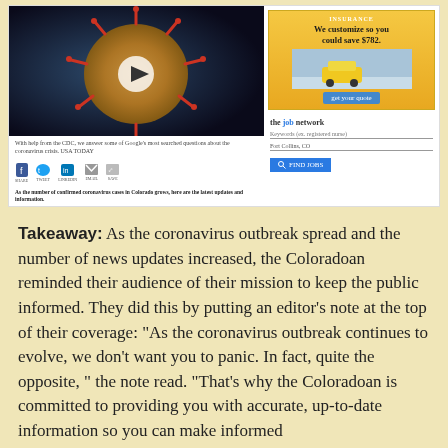[Figure (screenshot): Screenshot of a news webpage showing a coronavirus video thumbnail with a play button on the left panel, social sharing icons, and an article teaser. Right panel shows an insurance advertisement ('We customize so you could save $782') and a job network widget for Fort Collins, CO.]
Takeaway: As the coronavirus outbreak spread and the number of news updates increased, the Coloradoan reminded their audience of their mission to keep the public informed. They did this by putting an editor’s note at the top of their coverage: “As the coronavirus outbreak continues to evolve, we don’t want you to panic. In fact, quite the opposite, ” the note read. “That’s why the Coloradoan is committed to providing you with accurate, up-to-date information so you can make informed